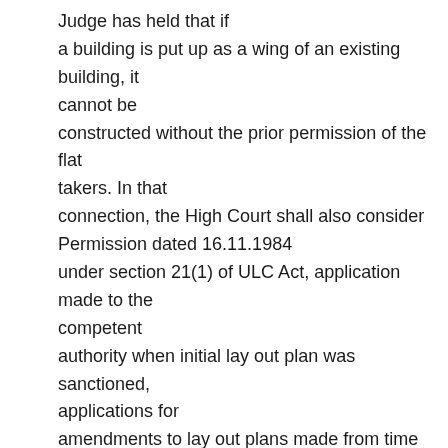Judge has held that if a building is put up as a wing of an existing building, it cannot be constructed without the prior permission of the flat takers. In that connection, the High Court shall also consider Permission dated 16.11.1984 under section 21(1) of ULC Act, application made to the competent authority when initial lay out plan was sanctioned, applications for amendments to lay out plans made from time to time and also agreements between promoter and flat takers. For the aforesaid reasons and in view of the law enunciated by us vide this judgment, the impugned judgment is set aside and the matter is remitted